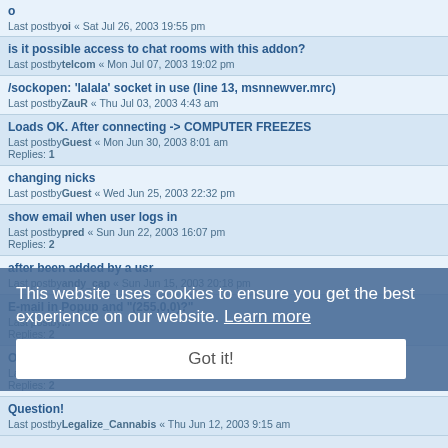o
Last postbyoi « Sat Jul 26, 2003 19:55 pm
is it possible access to chat rooms with this addon?
Last postbytelcom « Mon Jul 07, 2003 19:02 pm
/sockopen: 'lalala' socket in use (line 13, msnnewver.mrc)
Last postbyZauR « Thu Jul 03, 2003 4:43 am
Loads OK. After connecting -> COMPUTER FREEZES
Last postbyGuest « Mon Jun 30, 2003 8:01 am
Replies: 1
changing nicks
Last postbyGuest « Wed Jun 25, 2003 22:32 pm
show email when user logs in
Last postbypred « Sun Jun 22, 2003 16:07 pm
Replies: 2
after been added by a usr
Last postbyandy_cap « Sun Jun 15, 2003 20:18 pm
E-mail in Popup and "(255,0,0)?"
Last postby...
Replies: 2
Online/Offline Status
Last postbyBiney59 « Thu Jun 12, 2003 12:08 pm
Replies: 2
Question!
Last postbyLegalize_Cannabis « Thu Jun 12, 2003 9:15 am